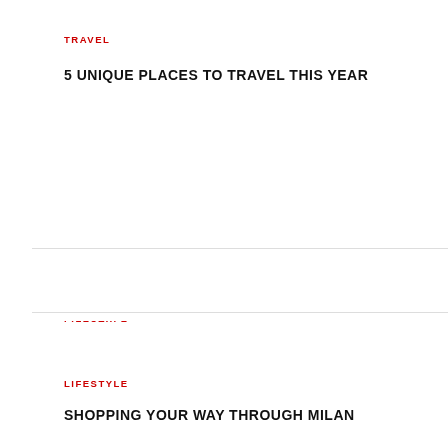TRAVEL
5 UNIQUE PLACES TO TRAVEL THIS YEAR
LIFESTYLE
MARKETING IDEAS TO BOOST YOUR FROZEN FOOD BUSINESS
LIFESTYLE
SHOPPING YOUR WAY THROUGH MILAN